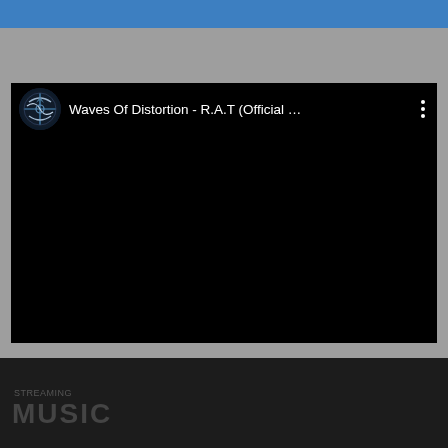[Figure (screenshot): Screenshot of a YouTube-style video player showing a video titled 'Waves Of Distortion - R.A.T (Official ...' with a channel icon on the left and a three-dot menu icon on the right. The video area is black. The interface has a blue top bar and gray background.]
MUSIC